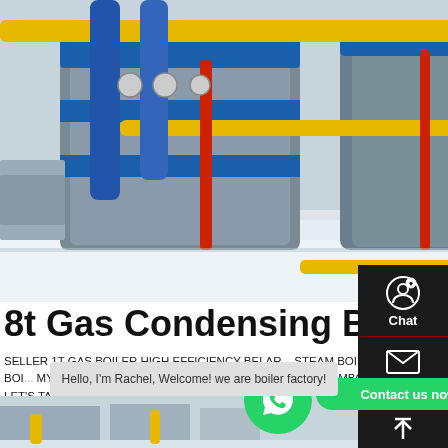[Figure (photo): Industrial boiler room with large blue cylindrical gas condensing boilers, yellow and red piping, and blue insulated pipes. White/grey floor, well-lit industrial facility.]
8t Gas Condensing Boiler Se...
SELLER 1T GAS BOILER HIGH EFFICIENCY BELAR... STEAM BOILER SELLER ENERGY SAVING 8T UKR... SELLER COMMERCIAL 8T OIL FIRED STEAM BOI... MYANMAR. FAST BOILER AGENT PRICE INDUSTR... CAMBODIA CONDENSING ...S ...T BOILER "TOP TEN RANKING...D" IN THE WO... LET'S TAKE A LOOK AT THE ADVANTAGES AND .LEAV...
[Figure (screenshot): WhatsApp contact button (green circle with phone icon) and a 'Contact us now!' green pill button overlaid on the text area.]
MORE
[Figure (screenshot): Right sidebar with dark background showing Chat (headset icon), Email (envelope icon), and back-to-top arrow icons in white on black, separated by dark red lines.]
Hello, I'm Rachel, Welcome! we are boiler factory!
[Figure (photo): Bottom strip showing partial view of another industrial boiler or equipment in grey tones.]